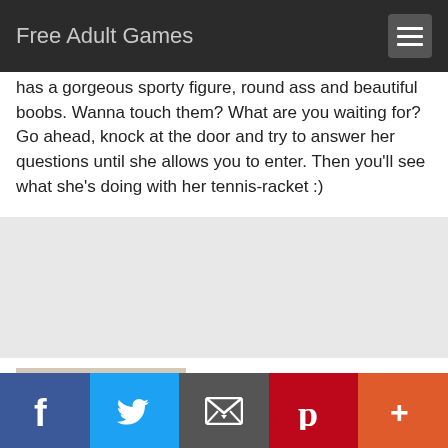Free Adult Games
has a gorgeous sporty figure, round ass and beautiful boobs. Wanna touch them? What are you waiting for? Go ahead, knock at the door and try to answer her questions until she allows you to enter. Then you'll see what she's doing with her tennis-racket :)
[Figure (illustration): Anime-style illustration of a woman lying on a bed with a speech bubble saying 'You know, I would die happy if I fucked you just once!']
Meet and fuck Leila
Are you ready tonight for a new sexual adventure? Do you see that pretty babe next to a bar table. Her name is Leila.
f  [Twitter bird]  [envelope]  p  +